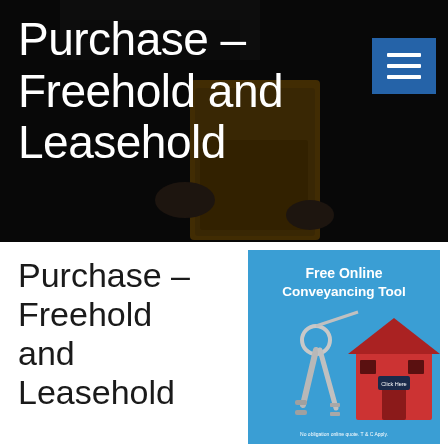Purchase – Freehold and Leasehold
[Figure (illustration): Dark background photo of a person in a suit holding a yellow/orange folder or envelope, with a semi-transparent dark overlay. A blue hamburger/menu button icon is in the top right corner.]
Purchase – Freehold and Leasehold
[Figure (illustration): Promotional banner with blue background showing house keys and a red model house. Text reads 'Free Online Conveyancing Tool' in white bold text with 'Click Here' button on the house. Small text at bottom: 'No obligation online quote. T & C Apply']